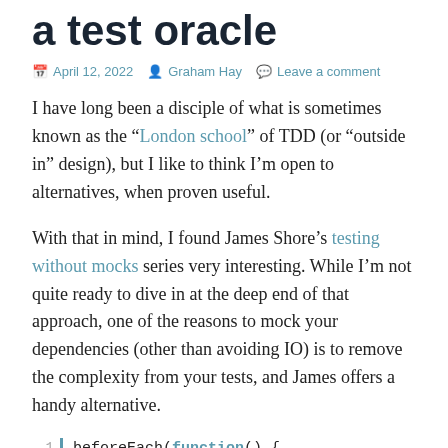a test oracle
April 12, 2022  Graham Hay  Leave a comment
I have long been a disciple of what is sometimes known as the “London school” of TDD (or “outside in” design), but I like to think I’m open to alternatives, when proven useful.
With that in mind, I found James Shore’s testing without mocks series very interesting. While I’m not quite ready to dive in at the deep end of that approach, one of the reasons to mock your dependencies (other than avoiding IO) is to remove the complexity from your tests, and James offers a handy alternative.
1   beforeEach(function() {